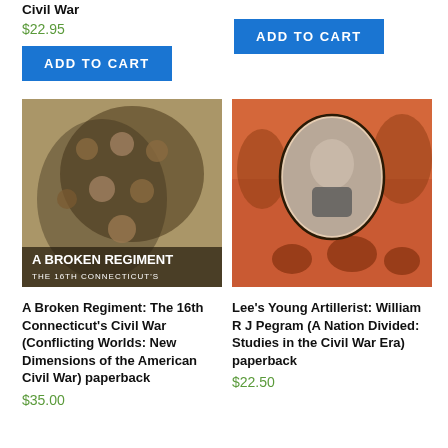Civil War
$22.95
ADD TO CART
ADD TO CART
[Figure (photo): Book cover: A Broken Regiment: The 16th Connecticut's Civil War - sepia toned group photo of soldiers]
[Figure (photo): Book cover: Lee's Young Artillerist: William R J Pegram - orange toned illustration with oval portrait inset]
A Broken Regiment: The 16th Connecticut's Civil War (Conflicting Worlds: New Dimensions of the American Civil War) paperback
Lee's Young Artillerist: William R J Pegram (A Nation Divided: Studies in the Civil War Era) paperback
$35.00
$22.50